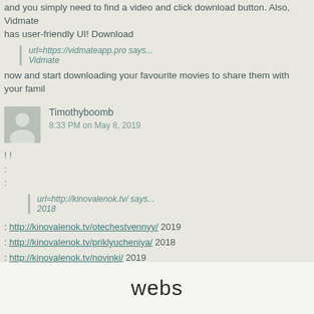and you simply need to find a video and click download button. Also, Vidmate has user-friendly UI! Download
url=https://vidmateapp.pro says... Vidmate
now and start downloading your favourite movies to share them with your family
Timothyboomb
8:33 PM on May 8, 2019
! !
:
:
url=http://kinovalenok.tv/ says... 2018
: http://kinovalenok.tv/otechestvennyy/ 2019
: http://kinovalenok.tv/priklyucheniya/ 2018
: http://kinovalenok.tv/novinki/ 2019
: http://kinovalenok.tv/3384-kartochnyy-domik-house-of-cards-sezon-1-2-2013-2014.html
webs